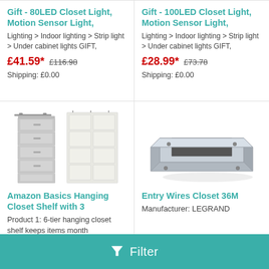Gift - 80LED Closet Light, Motion Sensor Light,
Lighting > Indoor lighting > Strip light > Under cabinet lights GIFT,
£41.59*  £116.98  Shipping: £0.00
Gift - 100LED Closet Light, Motion Sensor Light,
Lighting > Indoor lighting > Strip light > Under cabinet lights GIFT,
£28.99*  £73.78  Shipping: £0.00
[Figure (photo): Amazon Basics hanging closet shelf organizer and over-door pocket organizer in gray/white]
Amazon Basics Hanging Closet Shelf with 3
Product 1: 6-tier hanging closet shelf keeps items month
[Figure (photo): Entry Wires Closet 36M product - gray metal rail/wire closet system component by LEGRAND]
Entry Wires Closet 36M
Manufacturer: LEGRAND
Filter